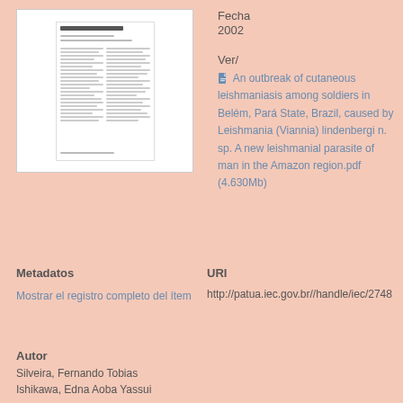[Figure (screenshot): Thumbnail preview of a scanned document page showing text and columns]
Fecha
2002
Ver/
📄 An outbreak of cutaneous leishmaniasis among soldiers in Belém, Pará State, Brazil, caused by Leishmania (Viannia) lindenbergi n. sp. A new leishmanial parasite of man in the Amazon region.pdf (4.630Mb)
Metadatos
Mostrar el registro completo del ítem
URI
http://patua.iec.gov.br//handle/iec/2748
Autor
Silveira, Fernando Tobias
Ishikawa, Edna Aoba Yassui